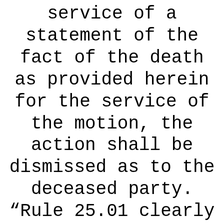service of a statement of the fact of the death as provided herein for the service of the motion, the action shall be dismissed as to the deceased party. “Rule 25.01 clearly directs the dismissal of an action if no motion for substitution of parties is made within 90 days after suggestion of death